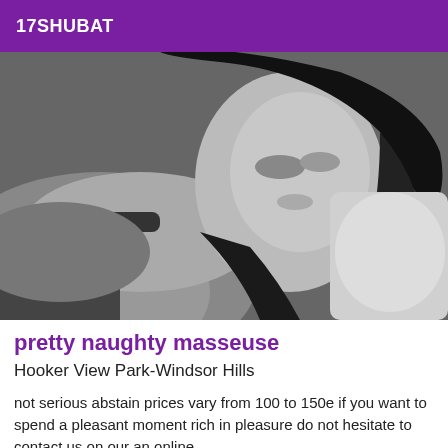17SHUBAT
[Figure (photo): Grayscale photograph of a woman lying down, looking toward the camera, dark hair, wearing dark clothing, with light-colored bedding or fabric in the background.]
pretty naughty masseuse
Hooker View Park-Windsor Hills
not serious abstain prices vary from 100 to 150e if you want to spend a pleasant moment rich in pleasure do not hesitate to contact us on our an online...